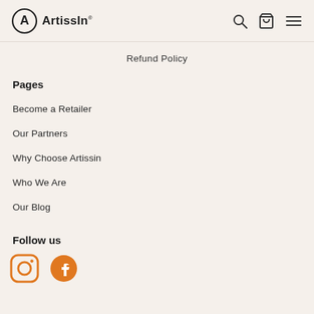ArtissIn
Refund Policy
Pages
Become a Retailer
Our Partners
Why Choose Artissin
Who We Are
Our Blog
Follow us
[Figure (illustration): Instagram and Facebook social media icons in orange color]